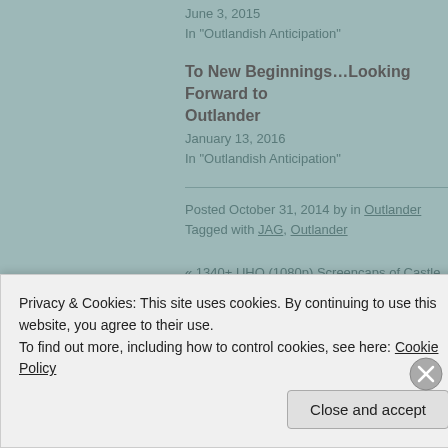June 3, 2015
In "Outlandish Anticipation"
To New Beginnings…Looking Forward to Outlander
January 13, 2016
In "Outlandish Anticipation"
Posted October 31, 2014 by in Outlander
Tagged with JAG, Outlander
« 1340+ UHQ (1080p) Screencaps of Castle Leoch
10 responses to "Confessions of a Re
Subscribe to comments with RSS.
Privacy & Cookies: This site uses cookies. By continuing to use this website, you agree to their use.
To find out more, including how to control cookies, see here: Cookie Policy
Close and accept